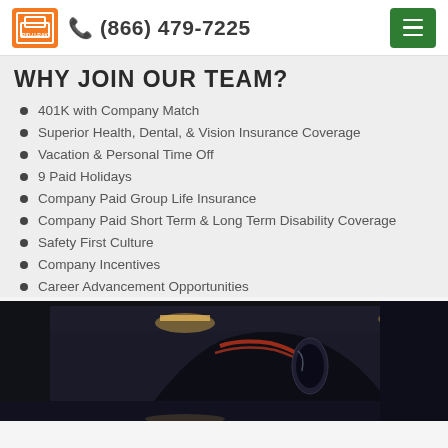(866) 479-7225
WHY JOIN OUR TEAM?
401K with Company Match
Superior Health, Dental, & Vision Insurance Coverage
Vacation & Personal Time Off
9 Paid Holidays
Company Paid Group Life Insurance
Company Paid Short Term & Long Term Disability Coverage
Safety First Culture
Company Incentives
Career Advancement Opportunities
[Figure (photo): Dark automotive/industrial scene showing a vehicle steering wheel or mirror with warehouse/garage lighting in background]